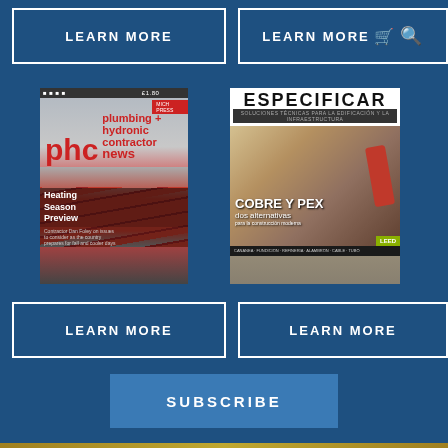LEARN MORE
LEARN MORE 🛒 🔍
[Figure (photo): PHC News magazine cover showing red radiant heating pipes on floor with headline 'Heating Season Preview']
[Figure (photo): Especificar magazine cover showing 'COBRE Y PEX dos alternativas para la construcción moderna' with worker using power tool]
LEARN MORE
LEARN MORE
SUBSCRIBE